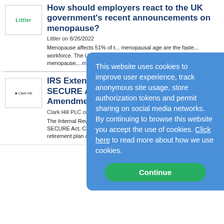[Figure (logo): Littler logo in a bordered box]
How should employers react to the UK government's recent announcements on menopause?
Littler on 8/26/2022
Menopause affects 51% of t... menopausal age are the faste... workforce. The UK governm... supporting women in the wo... menopause,...more
[Figure (logo): Clark Hill PLC logo in a bordered box]
IRS Extends Due Dates for Certain SECURE Act, CARES Act, and CAA Plan Amendments
Clark Hill PLC on 8/26/2022
The Internal Revenue Servic... 2022-33 on Aug. 3, 2022, ex... certain SECURE Act, CARES Act, and CAA non-governmental qualified retirement plan amendments
This website uses cookies to improve user experience, track anonymous site usage, store authorization tokens and permit sharing on social media networks. By continuing to browse this website you accept the use of cookies. Click here to read more about how we use cookies.
Continue